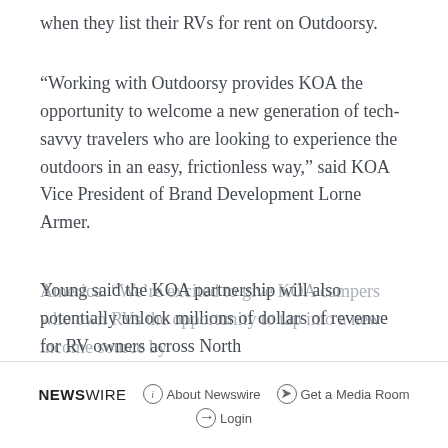when they list their RVs for rent on Outdoorsy.
“Working with Outdoorsy provides KOA the opportunity to welcome a new generation of tech-savvy travelers who are looking to experience the outdoors in an easy, frictionless way,” said KOA Vice President of Brand Development Lorne Armer.
Young said the KOA partnership will also potentially unlock millions of dollars of revenue for RV owners across North America. “We’re excited to give KOA campers who own RVs the opportunity to tap into a new income source by
NEWSWIRE   ⓘ About Newswire   ⬤ Get a Media Room   ⭢ Login